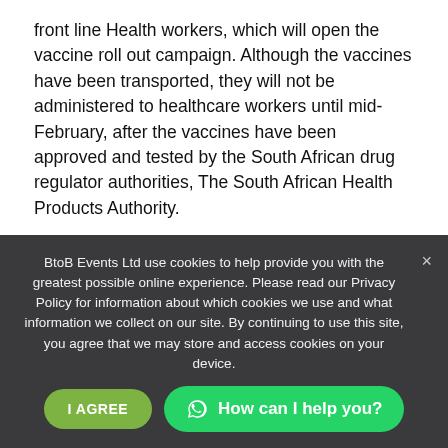front line Health workers, which will open the vaccine roll out campaign. Although the vaccines have been transported, they will not be administered to healthcare workers until mid-February, after the vaccines have been approved and tested by the South African drug regulator authorities, The South African Health Products Authority.
Director of the Africa Health Research Institute, Professor Williem Hanekom stated "The arrival of the first vaccines is excellent news and a step in the right direction for South Africa." South Africa has been dominated recently with the transmission of new variant, which scientist believe originated in the country, however Hanekom
[Cookie overlay obscuring content]
people, which represents 67% of the countries population, by the